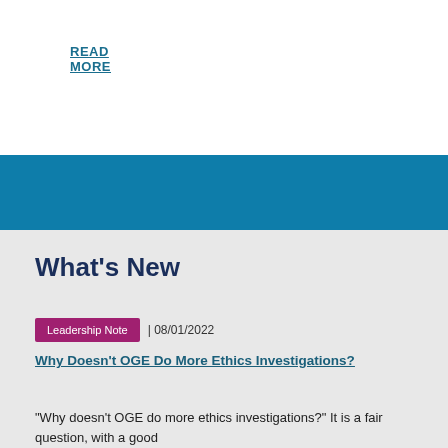READ MORE
What's New
Leadership Note | 08/01/2022
Why Doesn't OGE Do More Ethics Investigations?
“Why doesn’t OGE do more ethics investigations?” It is a fair question, with a good